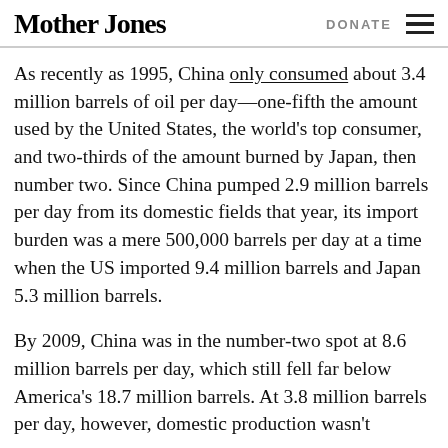Mother Jones | DONATE
As recently as 1995, China only consumed about 3.4 million barrels of oil per day—one-fifth the amount used by the United States, the world's top consumer, and two-thirds of the amount burned by Japan, then number two. Since China pumped 2.9 million barrels per day from its domestic fields that year, its import burden was a mere 500,000 barrels per day at a time when the US imported 9.4 million barrels and Japan 5.3 million barrels.
By 2009, China was in the number-two spot at 8.6 million barrels per day, which still fell far below America's 18.7 million barrels. At 3.8 million barrels per day, however, domestic production wasn't keeping pace and the import burden was rising.